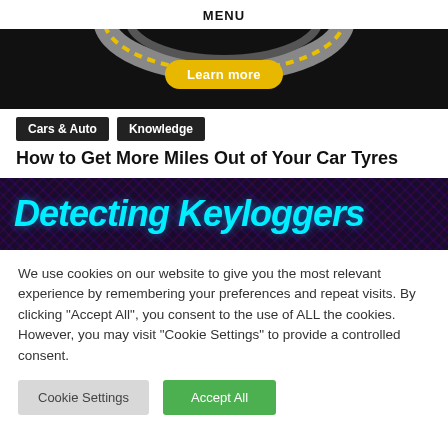MENU
[Figure (photo): Dark banner with tire and yellow 'Learn more' button]
Cars & Auto
Knowledge
How to Get More Miles Out of Your Car Tyres
[Figure (photo): Dark banner with cyan text reading 'Detecting Keyloggers']
We use cookies on our website to give you the most relevant experience by remembering your preferences and repeat visits. By clicking "Accept All", you consent to the use of ALL the cookies. However, you may visit "Cookie Settings" to provide a controlled consent.
Cookie Settings | Accept All